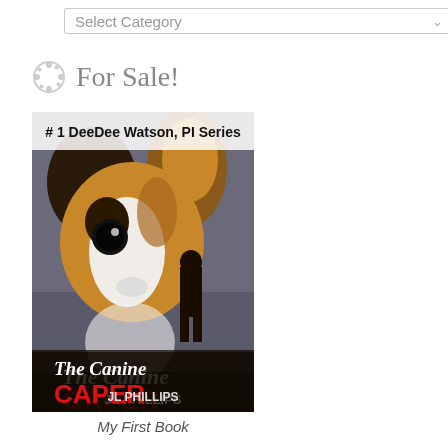[Figure (screenshot): A dropdown/select input box with placeholder text 'Select Category' and a down-arrow chevron on the right]
For Sale!
[Figure (illustration): Book cover for 'The Canine Caper' by JL Phillips, #1 DeeDee Watson PI Series, featuring a close-up photo of a Papillon dog and a silhouette of a standing figure]
My First Book